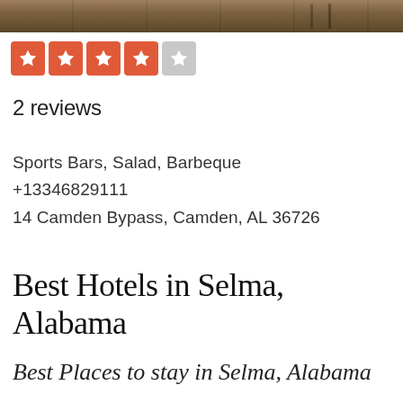[Figure (photo): Photo strip showing a wooden surface or bar interior, partially cropped at the top of the page]
[Figure (infographic): Yelp-style star rating showing 4 out of 5 stars — four filled red stars and one empty/gray star]
2 reviews
Sports Bars, Salad, Barbeque
+13346829111
14 Camden Bypass, Camden, AL 36726
Best Hotels in Selma, Alabama
Best Places to stay in Selma, Alabama
Holiday Inn Express & Suites Selma